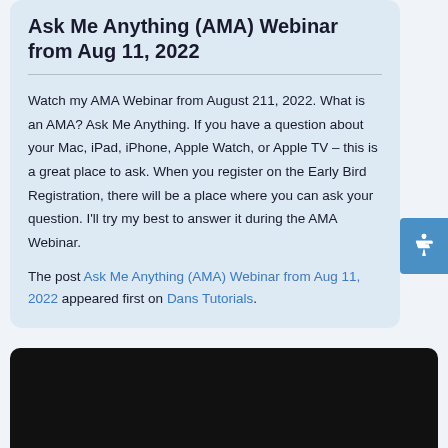Ask Me Anything (AMA) Webinar from Aug 11, 2022
Watch my AMA Webinar from August 211, 2022. What is an AMA? Ask Me Anything. If you have a question about your Mac, iPad, iPhone, Apple Watch, or Apple TV – this is a great place to ask. When you register on the Early Bird Registration, there will be a place where you can ask your question. I'll try my best to answer it during the AMA Webinar.
The post Ask Me Anything (AMA) Webinar from Aug 11, 2022 appeared first on Dans Tutorials.
[Figure (other): Black video/media player area at the bottom of the page]